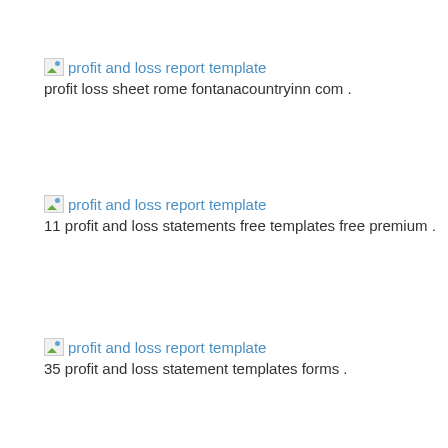[Figure (other): Broken image placeholder with alt text 'profit and loss report template']
profit loss sheet rome fontanacountryinn com .
[Figure (other): Broken image placeholder with alt text 'profit and loss report template']
11 profit and loss statements free templates free premium .
[Figure (other): Broken image placeholder with alt text 'profit and loss report template']
35 profit and loss statement templates forms .